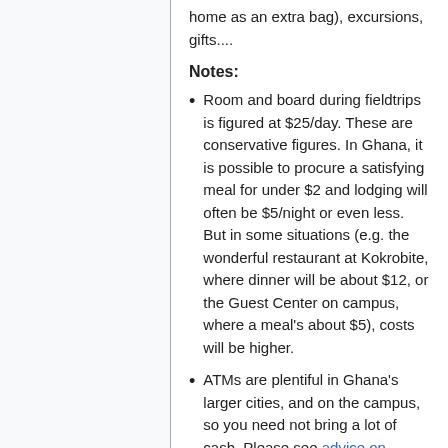home as an extra bag), excursions, gifts....
Notes:
Room and board during fieldtrips is figured at $25/day. These are conservative figures. In Ghana, it is possible to procure a satisfying meal for under $2 and lodging will often be $5/night or even less. But in some situations (e.g. the wonderful restaurant at Kokrobite, where dinner will be about $12, or the Guest Center on campus, where a meal's about $5), costs will be higher.
ATMs are plentiful in Ghana's larger cities, and on the campus, so you need not bring a lot of cash. Please see advice on financial preparations.